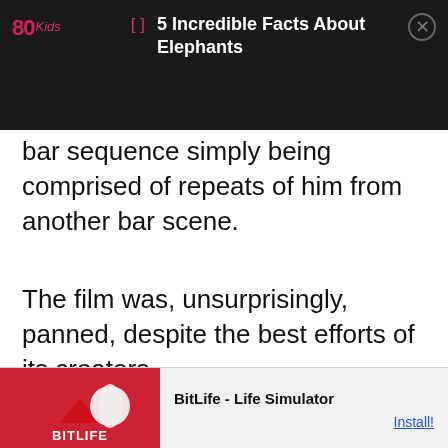80s Kids | 5 Incredible Facts About Elephants
bar sequence simply being comprised of repeats of him from another bar scene.
The film was, unsurprisingly, panned, despite the best efforts of its creators.
[Figure (screenshot): Advertisement banner for BitLife - Life Simulator mobile app with red background and game imagery. Contains Ad label, tagline 'you can't sit with us', BitLife logo, and Install button.]